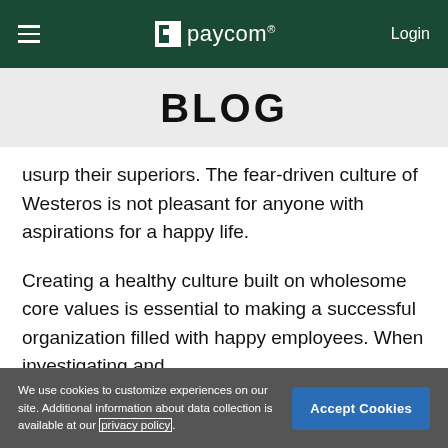paycom® Login
BLOG
usurp their superiors. The fear-driven culture of Westeros is not pleasant for anyone with aspirations for a happy life.
Creating a healthy culture built on wholesome core values is essential to making a successful organization filled with happy employees. When investigating and
We use cookies to customize experiences on our site. Additional information about data collection is available at our privacy policy.